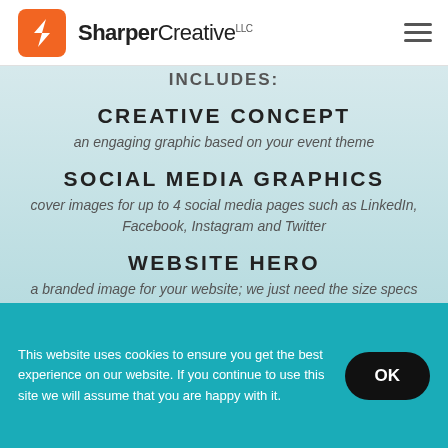SharperCreative LLC
INCLUDES:
CREATIVE CONCEPT
an engaging graphic based on your event theme
SOCIAL MEDIA GRAPHICS
cover images for up to 4 social media pages such as LinkedIn, Facebook, Instagram and Twitter
WEBSITE HERO
a branded image for your website; we just need the size specs
This website uses cookies to ensure you get the best experience on our website. If you continue to use this site we will assume that you are happy with it.